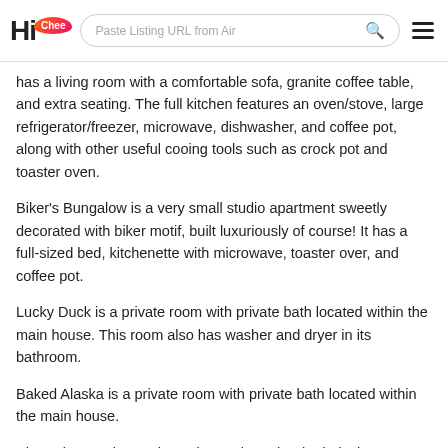HiChee — Paste Listing URL from Airbnb [search bar] [menu]
has a living room with a comfortable sofa, granite coffee table, and extra seating. The full kitchen features an oven/stove, large refrigerator/freezer, microwave, dishwasher, and coffee pot, along with other useful cooing tools such as crock pot and toaster oven.
Biker's Bungalow is a very small studio apartment sweetly decorated with biker motif, built luxuriously of course! It has a full-sized bed, kitchenette with microwave, toaster over, and coffee pot.
Lucky Duck is a private room with private bath located within the main house. This room also has washer and dryer in its bathroom.
Baked Alaska is a private room with private bath located within the main house.
Shangri-La, Suite Rock, Lucky Duck, and Baked Alaska, are on the second level directly above the rock fabrication shop